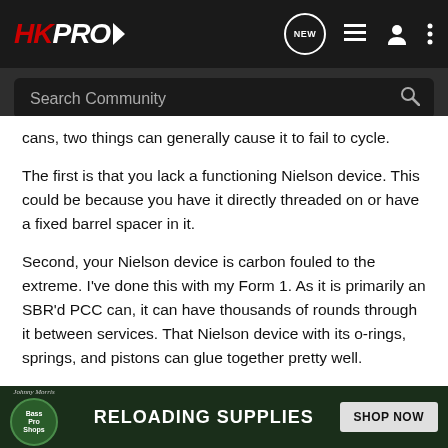HKPRO — Search Community navigation bar
cans, two things can generally cause it to fail to cycle.
The first is that you lack a functioning Nielson device. This could be because you have it directly threaded on or have a fixed barrel spacer in it.
Second, your Nielson device is carbon fouled to the extreme. I've done this with my Form 1. As it is primarily an SBR'd PCC can, it can have thousands of rounds through it between services. That Nielson device with its o-rings, springs, and pistons can glue together pretty well.
So if you have a direct thread mount or the equivalent, get a Nielson ... that is a mount, ... that a
[Figure (screenshot): Bass Pro Shops advertisement banner: RELOADING SUPPLIES — SHOP NOW]